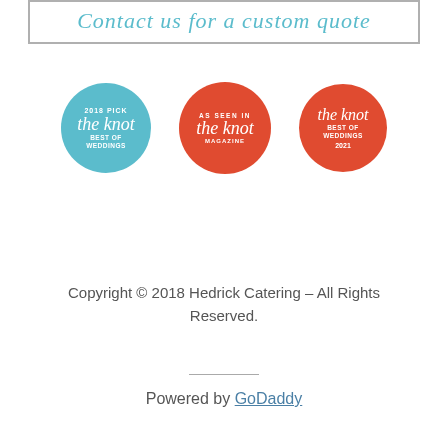Contact us for a custom quote
[Figure (logo): Three circular badges: 1) Blue 'The Knot Best of Weddings 2018 Pick', 2) Red 'As Seen In The Knot Magazine', 3) Red 'The Knot Best of Weddings 2021']
Copyright © 2018 Hedrick Catering – All Rights Reserved.
Powered by GoDaddy